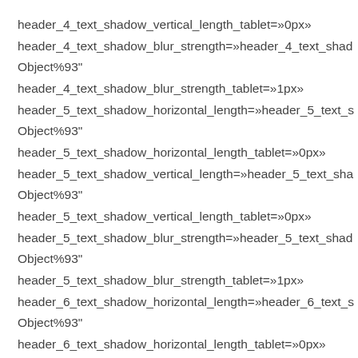header_4_text_shadow_vertical_length_tablet=»0px»
header_4_text_shadow_blur_strength=»header_4_text_shad Object%93"
header_4_text_shadow_blur_strength_tablet=»1px»
header_5_text_shadow_horizontal_length=»header_5_text_s Object%93"
header_5_text_shadow_horizontal_length_tablet=»0px»
header_5_text_shadow_vertical_length=»header_5_text_sha Object%93"
header_5_text_shadow_vertical_length_tablet=»0px»
header_5_text_shadow_blur_strength=»header_5_text_shad Object%93"
header_5_text_shadow_blur_strength_tablet=»1px»
header_6_text_shadow_horizontal_length=»header_6_text_s Object%93"
header_6_text_shadow_horizontal_length_tablet=»0px»
header_6_text_shadow_vertical_length=»header_6_text_sha